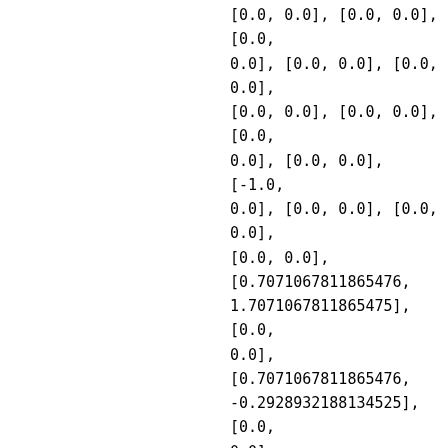[0.0, 0.0], [0.0, 0.0], [0.0, 0.0], [0.0, 0.0], [0.0, 0.0], [0.0, 0.0], [0.0, 0.0], [0.0, 0.0], [0.0, 0.0], [-1.0, 0.0], [0.0, 0.0], [0.0, 0.0], [0.0, 0.0], [0.7071067811865476, 1.7071067811865475], [0.0, 0.0], [0.7071067811865476, -0.2928932188134525], [0.0, 0.0], [-1.4142135623730951, -0.585786437626905], [0.0, 0.0], [0.0, 0.0], [0.0, 0.0], [0.0, 0.0], [0.0, 0.0], [0.0, -1.4142135623730951], [0.0, 0.0], [0.0, 0.0], [0.0, 0.0], [0.0, 0.0], [1.0, 0.0], [0.585786437626905, 0.585786437626905], [0.0, 0.0], [0.0,